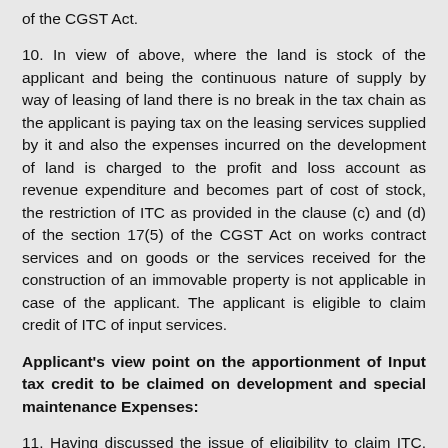of the CGST Act.
10. In view of above, where the land is stock of the applicant and being the continuous nature of supply by way of leasing of land there is no break in the tax chain as the applicant is paying tax on the leasing services supplied by it and also the expenses incurred on the development of land is charged to the profit and loss account as revenue expenditure and becomes part of cost of stock, the restriction of ITC as provided in the clause (c) and (d) of the section 17(5) of the CGST Act on works contract services and on goods or the services received for the construction of an immovable property is not applicable in case of the applicant. The applicant is eligible to claim credit of ITC of input services.
Applicant's view point on the apportionment of Input tax credit to be claimed on development and special maintenance Expenses:
11. Having discussed the issue of eligibility to claim ITC, the next issue is the apportionment of such ITC as the applicant is providing both taxable as well as exempt